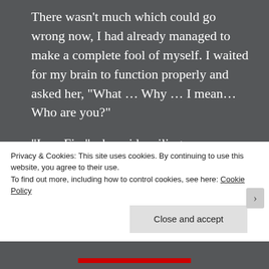There wasn't much which could go wrong now, I had already managed to make a complete fool of myself. I waited for my brain to function properly and asked her, “What … Why … I mean… Who are you?”
“I am Fire”, she said smiling.
Dazed by her beautiful smile, I couldn’t stop myself from staring at her, again.
Privacy & Cookies: This site uses cookies. By continuing to use this website, you agree to their use.
To find out more, including how to control cookies, see here: Cookie Policy